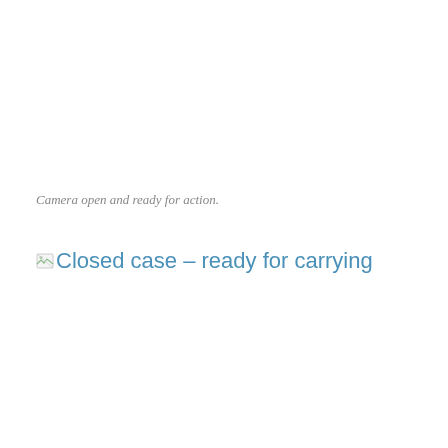Camera open and ready for action.
[Figure (illustration): Broken image placeholder with alt text 'Closed case - ready for carrying', displayed as a small broken-image icon followed by blue link-styled text reading 'Closed case - ready for carrying']